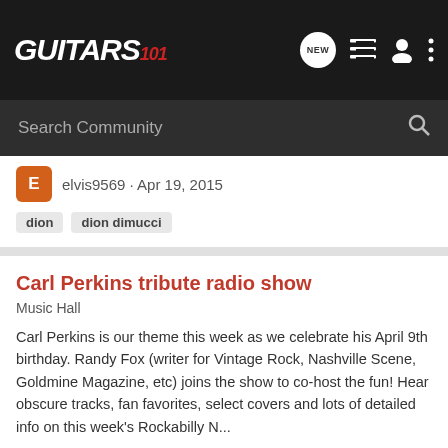GUITARS 101
Search Community
elvis9569 · Apr 19, 2015
dion
dion dimucci
Carl Perkins tribute radio show
Music Hall
Carl Perkins is our theme this week as we celebrate his April 9th birthday. Randy Fox (writer for Vintage Rock, Nashville Scene, Goldmine Magazine, etc) joins the show to co-host the fun! Hear obscure tracks, fan favorites, select covers and lots of detailed info on this week's Rockabilly N...
0  1K
elvis9569 · Apr 6, 2015